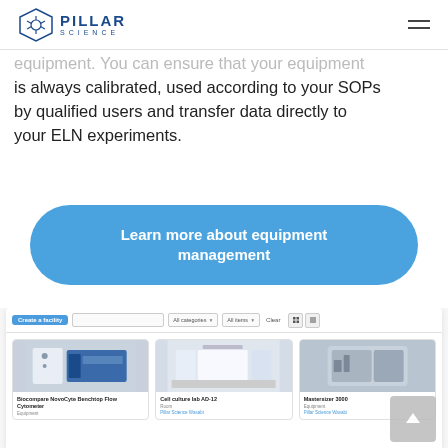Pillar Science
equipment. You can ensure that your equipment is always calibrated, used according to your SOPs by qualified users and transfer data directly to your ELN experiments.
Learn more about equipment management
[Figure (screenshot): Screenshot of Pillar Science equipment management interface showing a toolbar with 'Create a facility' button, search box, category and items dropdowns, and a grid of equipment cards including Biocompare NovoCyte Benchtop Flow Cytometer, Cell culture lab AD-12, and Mastersizer 3000.]